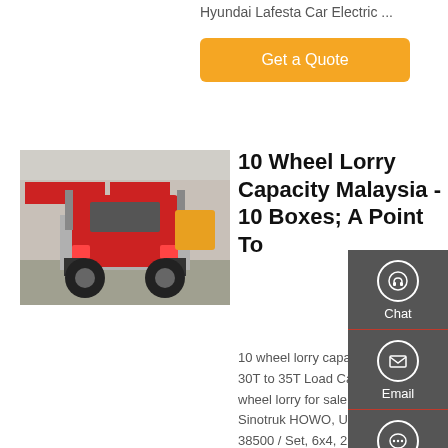Hyundai Lafesta Car Electric ...
[Figure (other): Orange 'Get a Quote' button]
[Figure (photo): Red 10-wheel lorry / truck tractor photographed from behind in a commercial vehicle yard]
10 Wheel Lorry Capacity Malaysia - 10 Boxes; A Point To
10 wheel lorry capacity malaysia 30T to 35T Load Capacity, 10 wheel lorry for sale in malaysia Sinotruk HOWO, US $ 37000 - 38500 / Set, 6x4, 21 - 30T, 336 - 450hp.Source from Jinan Huawo Heavy Duty Truck Trade Co., Ltd. on Alibaba.com Similar to